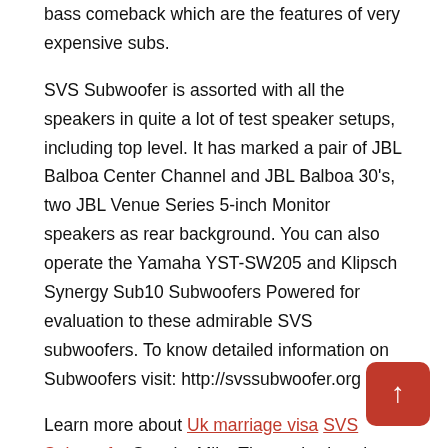bass comeback which are the features of very expensive subs.
SVS Subwoofer is assorted with all the speakers in quite a lot of test speaker setups, including top level. It has marked a pair of JBL Balboa Center Channel and JBL Balboa 30's, two JBL Venue Series 5-inch Monitor speakers as rear background. You can also operate the Yamaha YST-SW205 and Klipsch Synergy Sub10 Subwoofers Powered for evaluation to these admirable SVS subwoofers. To know detailed information on Subwoofers visit: http://svssubwoofer.org
Learn more about Uk marriage visa SVS Subwoofer Stop by Mike Thomas's site where you can find out all about Uk marriage visa SVS Subwoofer and what it can do for you.